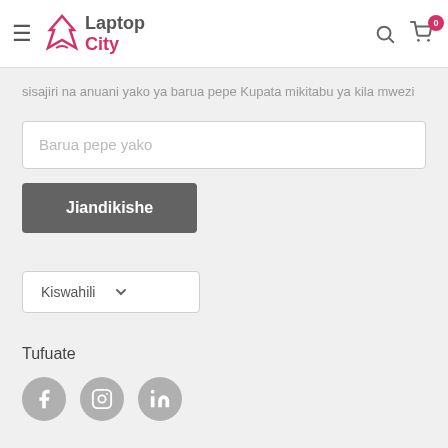[Figure (logo): Laptop City logo with hamburger menu, search icon, and cart icon with badge showing 0]
sisajiri na anuani yako ya barua pepe Kupata mikitabu ya kila mwezi
Barua pepe yako
Jiandikishe
Kiswahili
Tufuate
[Figure (illustration): Social media icons: Facebook, Instagram, LinkedIn in grey circles]